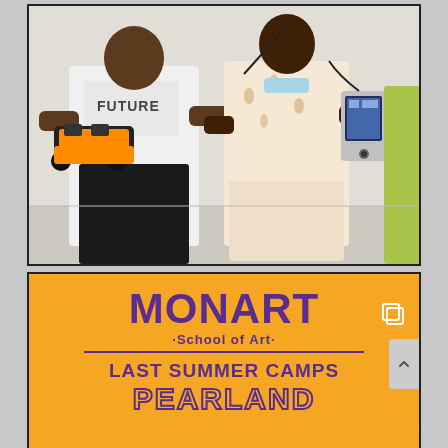[Figure (photo): Two children holding STEM/robotics items. Left child wears a white 'FUTURE' t-shirt and holds an orange and black robot/LEGO device. Right child wears a patterned top, has headphones and a mask around neck, and holds what appears to be a handheld electronic device. A third child is partially visible at the right edge.]
[Figure (infographic): Monart School of Art promotional banner with orange background and purple text. Shows 'MONART' in large bold letters, '·School of Art·' subtitle, a horizontal divider line, 'LAST SUMMER CAMPS' text, and 'PEARLAND' text at the bottom in orange with purple outline. Features a drip/paint design at the bottom and a copy/share icon in the top right.]